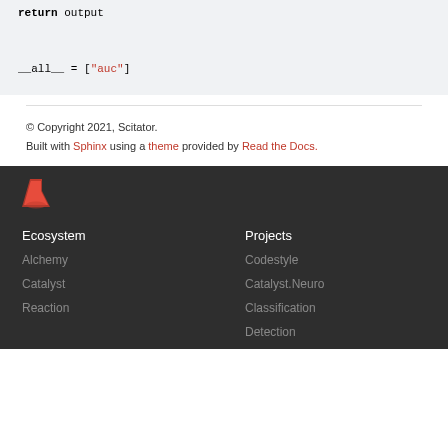return output

__all__ = ["auc"]
© Copyright 2021, Scitator.
Built with Sphinx using a theme provided by Read the Docs.
[Figure (logo): Red flask/beaker emoji icon]
Ecosystem
Projects
Alchemy
Codestyle
Catalyst
Catalyst.Neuro
Reaction
Classification
Detection